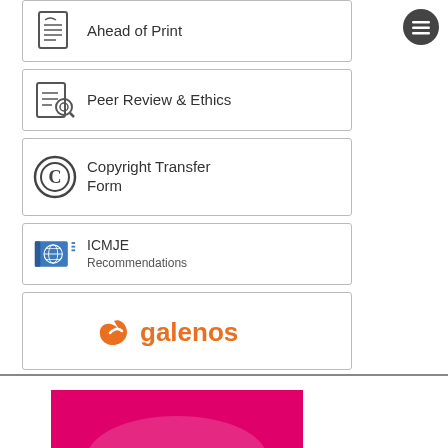[Figure (infographic): Menu button icon (hamburger) in dark circle, top right]
Ahead of Print
Peer Review & Ethics
Copyright Transfer Form
ICMJE Recommendations
[Figure (logo): Galenos publisher logo in orange]
[Figure (illustration): Pink/magenta box at bottom with white arc shape, partially visible]